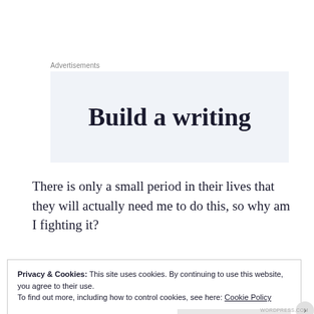Advertisements
[Figure (other): Advertisement banner with text 'Build a writing' on a light blue-grey background]
There is only a small period in their lives that they will actually need me to do this, so why am I fighting it?
Privacy & Cookies: This site uses cookies. By continuing to use this website, you agree to their use.
To find out more, including how to control cookies, see here: Cookie Policy
Close and accept